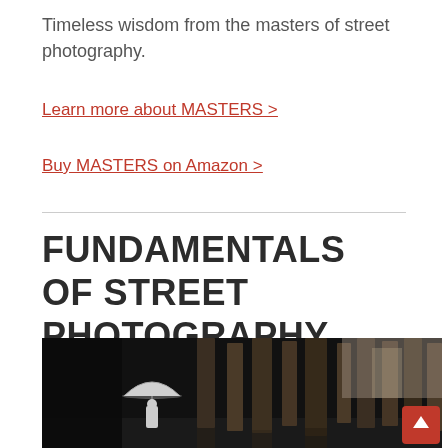Timeless wisdom from the masters of street photography.
Learn more about MASTERS >
Buy MASTERS on Amazon >
FUNDAMENTALS OF STREET PHOTOGRAPHY
[Figure (photo): Black and white street photograph showing a person holding an umbrella walking past tall wooden vertical pillars/posts, with buildings visible in the background. A red scroll-to-top button is visible in the bottom right corner.]